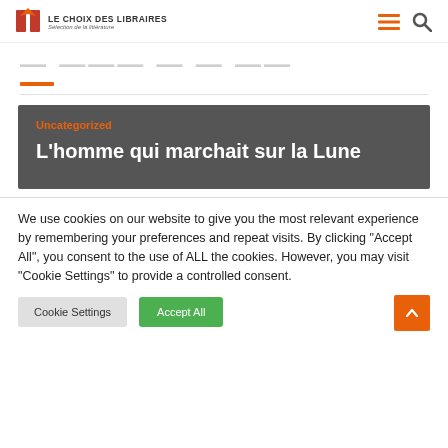LE CHOIX DES LIBRAIRES — Sélection de la littérature
L'homme qui marchait sur la Lune (partial, cropped)
[Figure (screenshot): Dark grey card with orange category label 'Uncategorized' and white bold title 'L'homme qui marchait sur la Lune']
We use cookies on our website to give you the most relevant experience by remembering your preferences and repeat visits. By clicking "Accept All", you consent to the use of ALL the cookies. However, you may visit "Cookie Settings" to provide a controlled consent.
Cookie Settings | Accept All